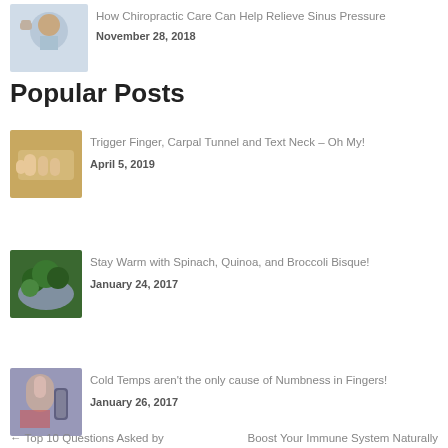[Figure (photo): Man pressing fingers to forehead/sinus area]
How Chiropractic Care Can Help Relieve Sinus Pressure
November 28, 2018
Popular Posts
[Figure (photo): Hands showing trigger finger or carpal tunnel]
Trigger Finger, Carpal Tunnel and Text Neck – Oh My!
April 5, 2019
[Figure (photo): Bowl of spinach, quinoa and broccoli soup]
Stay Warm with Spinach, Quinoa, and Broccoli Bisque!
January 24, 2017
[Figure (photo): Woman in cold looking uncomfortable, holding phone]
Cold Temps aren't the only cause of Numbness in Fingers!
January 26, 2017
← Top 10 Questions Asked by     Boost Your Immune System Naturally